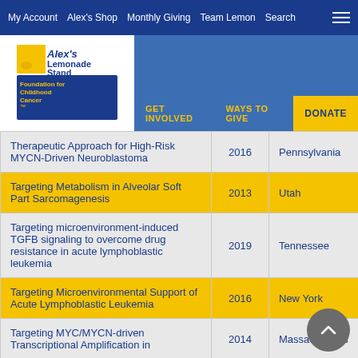My Account | Alex's Shop | Monthly Giving | Team Lemon | Search
[Figure (logo): Alex's Lemonade Stand Foundation for Childhood Cancer logo]
GET INVOLVED   WAYS TO GIVE   DONATE
| Title | Year | State |
| --- | --- | --- |
| Therapeutic Approach for High-Risk MYCN-Driven Neuroblastoma | 2016 | Pennsylvania |
| Targeting Metabolism in Alveolar Soft Part Sarcomagenesis | 2013 | Utah |
| Targeting microenvironment-induced TGFB signaling to overcome drug resistance in acute lymphoblastic leukemia | 2019 | Tennessee |
| Targeting Microenvironmental Support of Acute Lymphoblastic Leukemia | 2016 | New York |
| Targeting MYC/MYCN-driven Transcriptional Amplification in | 2014 | Massachusetts |